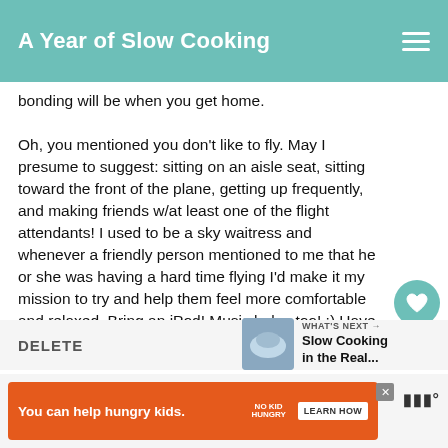A Year of Slow Cooking
bonding will be when you get home.

Oh, you mentioned you don't like to fly. May I presume to suggest: sitting on an aisle seat, sitting toward the front of the plane, getting up frequently, and making friends w/at least one of the flight attendants! I used to be a sky waitress and whenever a friendly person mentioned to me that he or she was having a hard time flying I'd make it my mission to try and help them feel more comfortable and relaxed. Bring an iPod! Music helps too! ;) Have a great time in Chicago!!
DELETE
WHAT'S NEXT → Slow Cooking in the Real...
You can help hungry kids. NO KID HUNGRY LEARN HOW